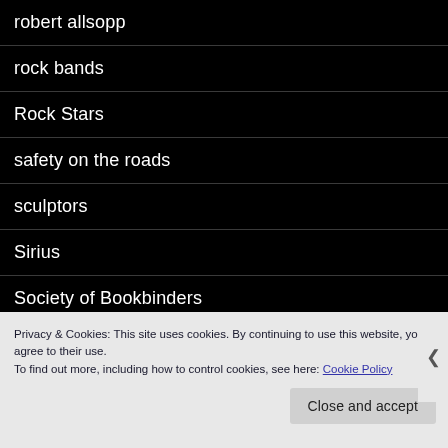robert allsopp
rock bands
Rock Stars
safety on the roads
sculptors
Sirius
Society of Bookbinders
Somme Boys
Spill Fest
Privacy & Cookies: This site uses cookies. By continuing to use this website, you agree to their use.
To find out more, including how to control cookies, see here: Cookie Policy
Close and accept